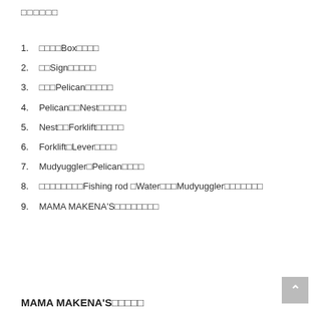□□□□□□
1. □□□□Box□□□□
2. □□Sign□□□□□
3. □□□Pelican□□□□□
4. Pelican□□Nest□□□□□
5. Nest□□Forklift□□□□□
6. Forklift□Lever□□□□
7. Mudyuggler□Pelican□□□□
8. □□□□□□□□Fishing rod □Water□□□Mudyuggler□□□□□□□
9. MAMA MAKENA'S□□□□□□□□
MAMA MAKENA'S□□□□□